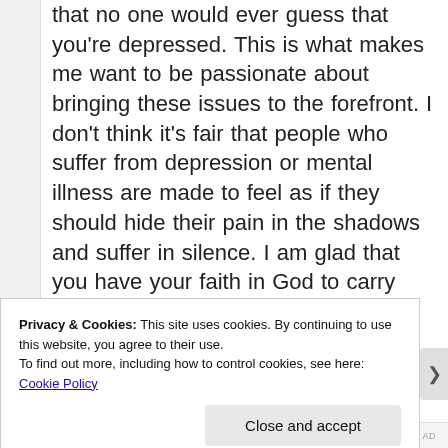that no one would ever guess that you're depressed. This is what makes me want to be passionate about bringing these issues to the forefront. I don't think it's fair that people who suffer from depression or mental illness are made to feel as if they should hide their pain in the shadows and suffer in silence. I am glad that you have your faith in God to carry
Privacy & Cookies: This site uses cookies. By continuing to use this website, you agree to their use.
To find out more, including how to control cookies, see here: Cookie Policy
Close and accept
REPORT THIS AD